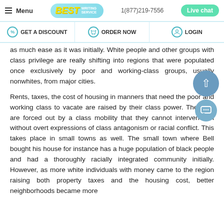Menu | BEST WRITING SERVICE | 1(877)219-7556 | Live chat
GET A DISCOUNT | ORDER NOW | LOGIN
as much ease as it was initially. White people and other groups with class privilege are really shifting into regions that were populated once exclusively by poor and working-class groups, usually nonwhites, from major cities.
Rents, taxes, the cost of housing in manners that need the poor and working class to vacate are raised by their class power. The poor are forced out by a class mobility that they cannot intervene on without overt expressions of class antagonism or racial conflict. This takes place in small towns as well. The small town where Bell bought his house for instance has a huge population of black people and had a thoroughly racially integrated community initially. However, as more white individuals with money came to the region raising both property taxes and the housing cost, better neighborhoods became more